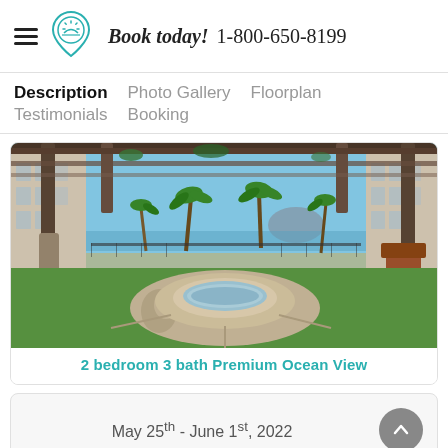Book today! 1-800-650-8199
Description  Photo Gallery  Floorplan  Testimonials  Booking
[Figure (photo): Outdoor resort area with circular hot tub/fountain surrounded by lush green grass, palm trees, pergola overhead, and resort buildings on either side with ocean and mountain view in background]
2 bedroom 3 bath Premium Ocean View
May 25th - June 1st, 2022
[Figure (photo): Partial bottom strip showing another resort photo with blue tones]